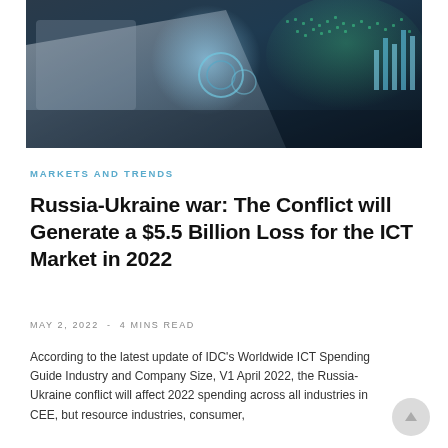[Figure (photo): Hero image showing a person working at a computer with holographic digital globe and data visualizations in a dark tech-themed setting]
MARKETS AND TRENDS
Russia-Ukraine war: The Conflict will Generate a $5.5 Billion Loss for the ICT Market in 2022
MAY 2, 2022  -  4 MINS READ
According to the latest update of IDC’s Worldwide ICT Spending Guide Industry and Company Size, V1 April 2022, the Russia-Ukraine conflict will affect 2022 spending across all industries in CEE, but resource industries, consumer,